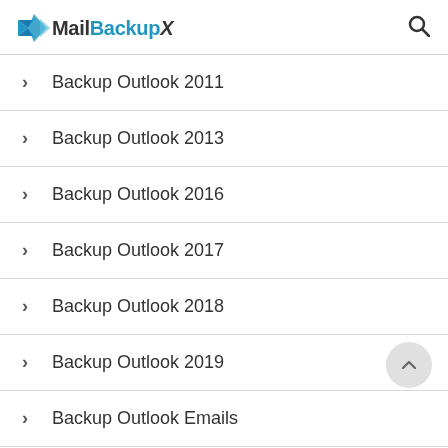MailBackupX
Backup Outlook 2011
Backup Outlook 2013
Backup Outlook 2016
Backup Outlook 2017
Backup Outlook 2018
Backup Outlook 2019
Backup Outlook Emails
Backup Outlook Mac 2016